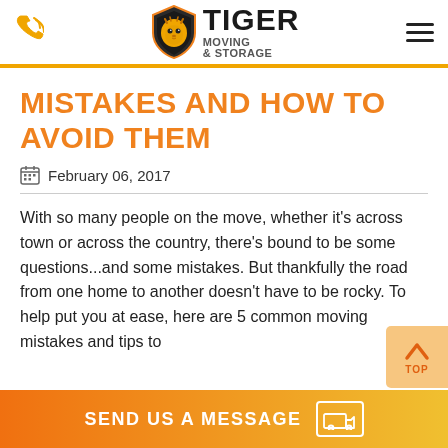TIGER MOVING & STORAGE
MISTAKES AND HOW TO AVOID THEM
February 06, 2017
With so many people on the move, whether it's across town or across the country, there's bound to be some questions...and some mistakes. But thankfully the road from one home to another doesn't have to be rocky. To help put you at ease, here are 5 common moving mistakes and tips to
SEND US A MESSAGE